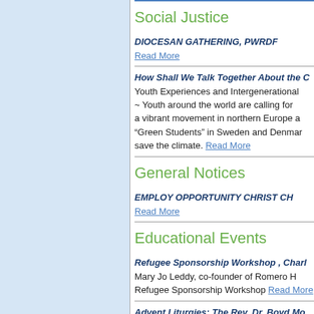Social Justice
DIOCESAN GATHERING, PWRDF
Read More
How Shall We Talk Together About the C
Youth Experiences and Intergenerational ~ Youth around the world are calling for a vibrant movement in northern Europe a "Green Students" in Sweden and Denmar save the climate. Read More
General Notices
EMPLOY OPPORTUNITY CHRIST CH
Read More
Educational Events
Refugee Sponsorship Workshop , Charl
Mary Jo Leddy, co-founder of Romero H Refugee Sponsorship Workshop Read More
Advent Liturgies: The Rev. Dr. Boyd Mo
The Rev. Dr. Boyd Morgan has develop